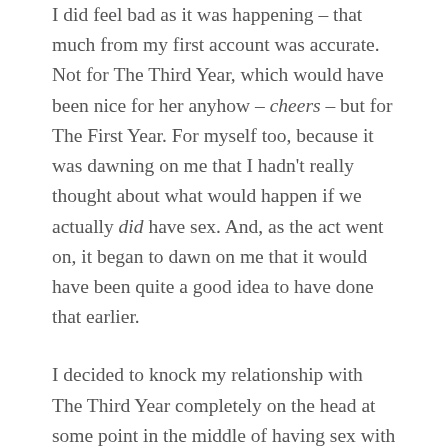I did feel bad as it was happening – that much from my first account was accurate. Not for The Third Year, which would have been nice for her anyhow – cheers – but for The First Year. For myself too, because it was dawning on me that I hadn't really thought about what would happen if we actually did have sex. And, as the act went on, it began to dawn on me that it would have been quite a good idea to have done that earlier.
I decided to knock my relationship with The Third Year completely on the head at some point in the middle of having sex with her, and not even because of her. I didn't tell her or stop or anything, naturally.
And, as I was too stupid to know how to develop a relationship where you'd started off living together, and then fallen in love with each other – that's what